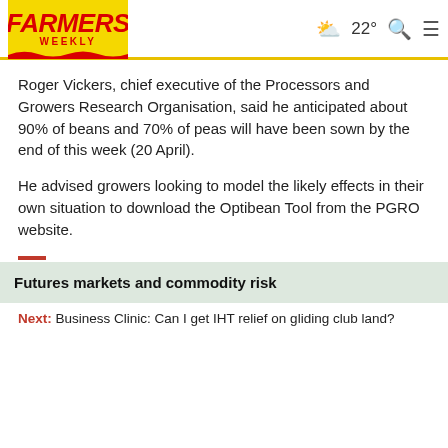FARMERS WEEKLY | 22° weather
Roger Vickers, chief executive of the Processors and Growers Research Organisation, said he anticipated about 90% of beans and 70% of peas will have been sown by the end of this week (20 April).
He advised growers looking to model the likely effects in their own situation to download the Optibean Tool from the PGRO website.
Futures markets and commodity risk
Next: Business Clinic: Can I get IHT relief on gliding club land?